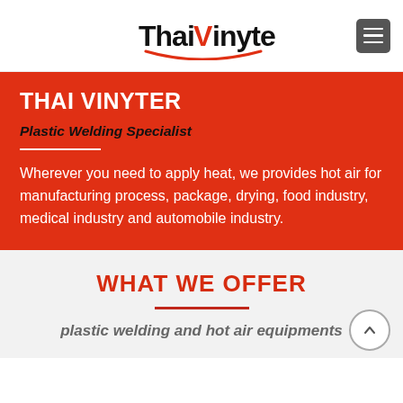ThaiVinyter [logo with navigation menu button]
THAI VINYTER
Plastic Welding Specialist
Wherever you need to apply heat, we provides hot air for manufacturing process, package, drying, food industry, medical industry and automobile industry.
WHAT WE OFFER
plastic welding and hot air equipments